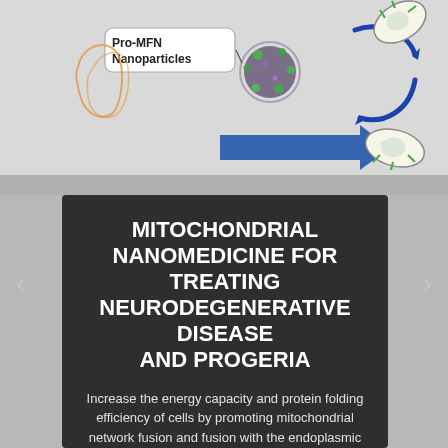[Figure (illustration): Scientific diagram showing Pro-MFN Nanoparticles interacting with mitochondria. A labeled nanoparticle (dark sphere with green dots) is connected by blue arrows indicating a cycle or process with mitochondria (shown as organelle illustrations with green outlines). The label 'Pro-MFN Nanoparticles' appears on the left side within a rounded rectangle.]
MITOCHONDRIAL NANOMEDICINE FOR TREATING NEURODEGENERATIVE DISEASE AND PROGERIA
Increase the energy capacity and protein folding efficiency of cells by promoting mitochondrial network fusion and fusion with the endoplasmic reticulum with intranasal administered nanoparticles.